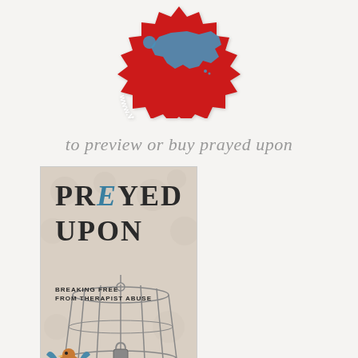[Figure (logo): Red zigzag/star-burst shaped badge with a blue map of North America, and text 'www.WomenSpeakers.com' in white]
to preview or buy prayed upon
[Figure (illustration): Book cover for 'PREYED UPON: Breaking Free From Therapist Abuse' featuring a bird escaping from a birdcage on a decorative background]